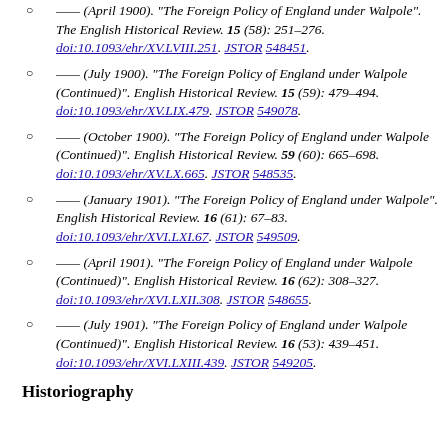— (April 1900). "The Foreign Policy of England under Walpole". The English Historical Review. 15 (58): 251–276. doi:10.1093/ehr/XV.LVIII.251. JSTOR 548451.
— (July 1900). "The Foreign Policy of England under Walpole (Continued)". English Historical Review. 15 (59): 479–494. doi:10.1093/ehr/XV.LIX.479. JSTOR 549078.
— (October 1900). "The Foreign Policy of England under Walpole (Continued)". English Historical Review. 59 (60): 665–698. doi:10.1093/ehr/XV.LX.665. JSTOR 548535.
— (January 1901). "The Foreign Policy of England under Walpole". English Historical Review. 16 (61): 67–83. doi:10.1093/ehr/XVI.LXI.67. JSTOR 549509.
— (April 1901). "The Foreign Policy of England under Walpole (Continued)". English Historical Review. 16 (62): 308–327. doi:10.1093/ehr/XVI.LXII.308. JSTOR 548655.
— (July 1901). "The Foreign Policy of England under Walpole (Continued)". English Historical Review. 16 (53): 439–451. doi:10.1093/ehr/XVI.LXIII.439. JSTOR 549205.
Historiography